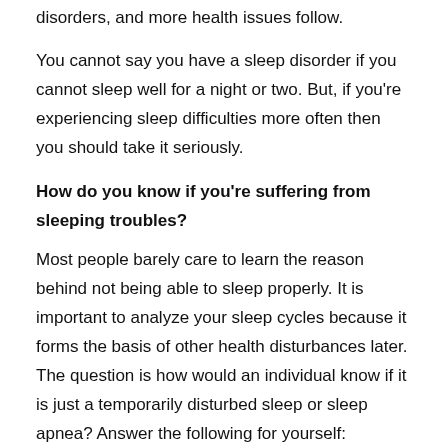disorders, and more health issues follow.
You cannot say you have a sleep disorder if you cannot sleep well for a night or two. But, if you're experiencing sleep difficulties more often then you should take it seriously.
How do you know if you're suffering from sleeping troubles?
Most people barely care to learn the reason behind not being able to sleep properly. It is important to analyze your sleep cycles because it forms the basis of other health disturbances later. The question is how would an individual know if it is just a temporarily disturbed sleep or sleep apnea? Answer the following for yourself:
How often do you feel sleepy during the daytime?
Do you find it difficult to stay awake while watching TV or doing any attentive activities?
Are you experiencing a lack of focus in daily activities?
Do people often say that you look sleepy or tired?